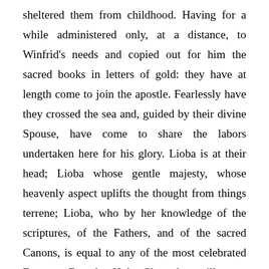sheltered them from childhood. Having for a while administered only, at a distance, to Winfrid's needs and copied out for him the sacred books in letters of gold: they have at length come to join the apostle. Fearlessly have they crossed the sea and, guided by their divine Spouse, have come to share the labors undertaken here for his glory. Lioba is at their head; Lioba whose gentle majesty, whose heavenly aspect uplifts the thought from things terrene; Lioba, who by her knowledge of the scriptures, of the Fathers, and of the sacred Canons, is equal to any of the most celebrated Doctors. But the Holy Ghost has still more richly gifted the soul of Lioba with humility and Christian heroism. Behold the chosen Mother of the German nation! Germany's scornful daughters, athirst for